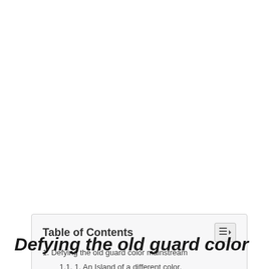| 1. Defying the old guard color mainstream |
| 1.1. 1. An Island of a different color. |
| 1.2. 2. Complementary colors x3. |
| 1.3. 3. Highlight one cabinet in particular. |
| 1.4. 4. Contrast the uppers and lowers. |
| 1.5. 5. Stain or glaze one cabinet color. |
| 1.6. 6. Texture, yes! |
| 1.7. 7. Just go for it. |
Defying the old guard color